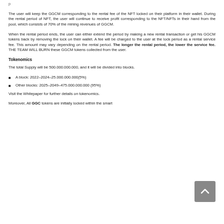The user will keep the GGCM corresponding to the rental fee of the NFT locked on their platform in their wallet. During the rental period of NFT, the user will continue to receive profit corresponding to the NFT/NFTs in their hand from the pool, which consists of 70% of the mining revenues of GGCM.
When the rental period ends, the user can either extend the period by making a new rental transaction or get his GGCM tokens back by removing the lock on their wallet. A fee will be charged to the user at the lock period as a rental service fee. This amount may vary depending on the rental period. The longer the rental period, the lower the service fee. THE TEAM WILL BURN these GGCM tokens collected from the user.
Tokenomics
The total Supply will be 500.000.000.000, and it will be divided into blocks.
A block: 2022–2024–25.000.000.000(5%)
Other blocks: 2025–2049–475.000.000.000 (95%)
Visit the Whitepaper for further details on tokenomics.
Moreover, All GGC tokens are initially locked within the smart